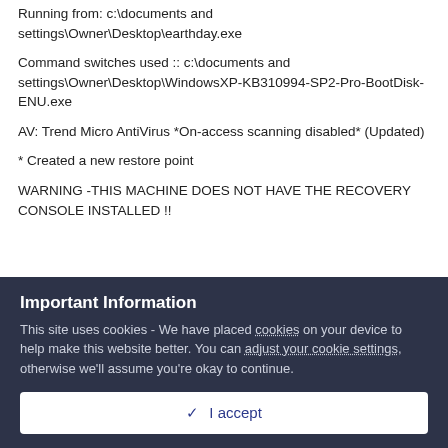Running from: c:\documents and settings\Owner\Desktop\earthday.exe
Command switches used :: c:\documents and settings\Owner\Desktop\WindowsXP-KB310994-SP2-Pro-BootDisk-ENU.exe
AV: Trend Micro AntiVirus *On-access scanning disabled* (Updated)
* Created a new restore point
WARNING -THIS MACHINE DOES NOT HAVE THE RECOVERY CONSOLE INSTALLED !!
Important Information
This site uses cookies - We have placed cookies on your device to help make this website better. You can adjust your cookie settings, otherwise we'll assume you're okay to continue.
✓ I accept